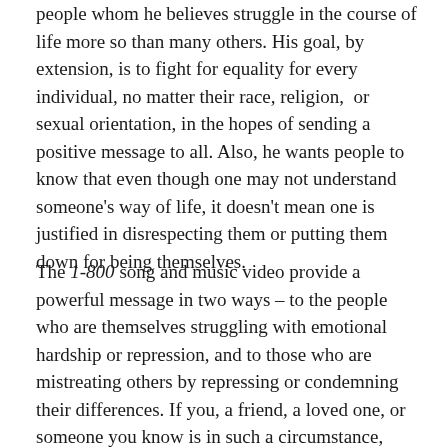people whom he believes struggle in the course of life more so than many others. His goal, by extension, is to fight for equality for every individual, no matter their race, religion,  or sexual orientation, in the hopes of sending a positive message to all. Also, he wants people to know that even though one may not understand someone's way of life, it doesn't mean one is justified in disrespecting them or putting them down for being themselves.
The 1-800 song and music video provide a powerful message in two ways – to the people who are themselves struggling with emotional hardship or repression, and to those who are mistreating others by repressing or condemning their differences. If you, a friend, a loved one, or someone you know is in such a circumstance, please do not hesitate to call the National Suicide